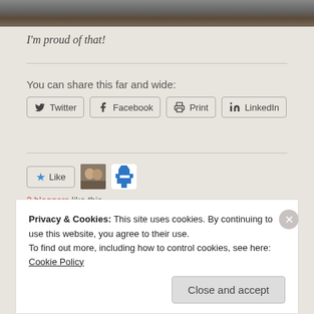[Figure (photo): Cropped photo strip at top of page showing partial view of people]
I'm proud of that!
You can share this far and wide:
Twitter  Facebook  Print  LinkedIn
[Figure (photo): Like button with star icon and two blogger avatars]
2 bloggers like this.
Privacy & Cookies: This site uses cookies. By continuing to use this website, you agree to their use.
To find out more, including how to control cookies, see here:
Cookie Policy
Close and accept